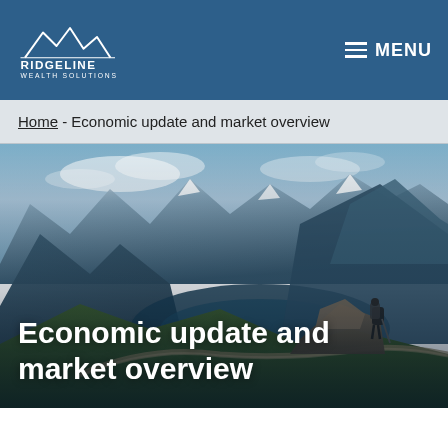[Figure (logo): Ridgeline Wealth Solutions logo with mountain peaks illustration and company name in white on dark blue background]
≡ MENU
Home - Economic update and market overview
[Figure (photo): Hero photograph of a mountain hiker standing on a ridgeline trail with sweeping valley and mountain range in the background, blue-green alpine landscape]
Economic update and market overview